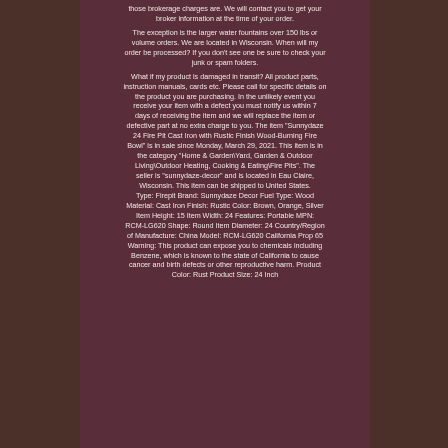those brokerage charges are. We will contact you to get your broker information at the time of your order. The exception is the larger water fountains over 150 lbs or volume orders. We are located in Wisconsin. When will my order be processed? If you don't see one be sure to check your junk or spam folders. What if my product is damaged in transit? All product parts, instruction manuals, cards etc. Please call for specific details on the product you are purchasing. In the unlikely event you receive your item with a defect you must notify us within 7 days of receiving the item and we will replace the item or defective part at no extra charge to you. The item "Sunnydaze 24 Fire Pit Cast Iron with Rustic Finish Wood-Burning Fire Bowl" is in sale since Monday, March 29, 2021. This item is in the category "Home & Garden\Yard, Garden & Outdoor Living\Outdoor Heating, Cooking & Eating\Fire Pits". The seller is "sunnydaze-decor" and is located in Eau Claire, Wisconsin. This item can be shipped to United States. Type: Firepit Brand: Sunnydaze Decor Fuel Type: Wood Material: Cast Iron Finish: Rustic Color: Brown, Orange, Silver Item Height: 15 Item Width: 24 Features: Portable MPN: RCM-LG620 Shape: Round Item Diameter: 24 Country/Region of Manufacture: China Model: RCM-LG620 California Prop 65 Warning: This product can expose you to chemicals including Benzene, which is known to the state of California to cause cancer and birth defects or other reproductive harm. Product Color: Rust Product Size: 24 Inch